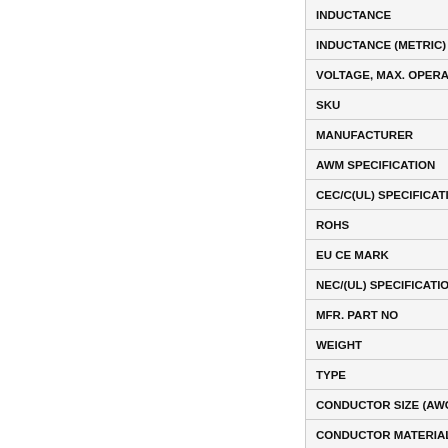| INDUCTANCE |
| INDUCTANCE (METRIC) |
| VOLTAGE, MAX. OPERATING |
| SKU |
| MANUFACTURER |
| AWM SPECIFICATION |
| CEC/C(UL) SPECIFICATION |
| ROHS |
| EU CE MARK |
| NEC/(UL) SPECIFICATION |
| MFR. PART NO |
| WEIGHT |
| TYPE |
| CONDUCTOR SIZE (AWG) |
| CONDUCTOR MATERIAL |
| NUMBER OF PAIRS |